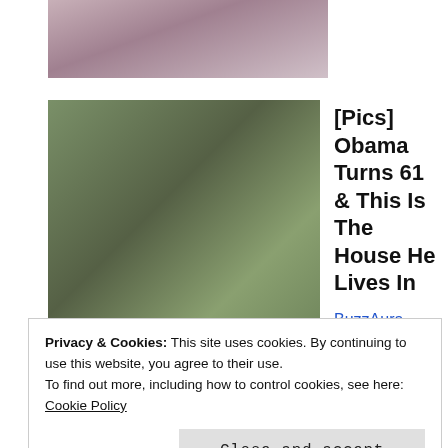[Figure (photo): Partial photo of people, cropped at top of page]
[Figure (photo): Photo of Barack Obama and a woman wearing sunglasses outdoors]
[Pics] Obama Turns 61 & This Is The House He Lives In
BuzzAura
Posted in author, author events, Creative Writing, creative writing resources, English, English AS, English Literature, event, literature, novels, photography, plan, school visits, teaching, teaching literature, teaching resources, writer and tagged AS English, author, author event, English, English Literature, events, photography, plan, school visit, writer on November 24, 2014. Leave a comment
Privacy & Cookies: This site uses cookies. By continuing to use this website, you agree to their use.
To find out more, including how to control cookies, see here: Cookie Policy
Close and accept
[Figure (photo): Partial photo of outdoor greenery/vegetation at bottom of page]